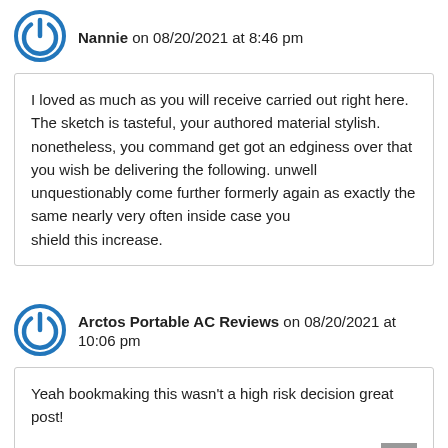Nannie on 08/20/2021 at 8:46 pm
I loved as much as you will receive carried out right here. The sketch is tasteful, your authored material stylish. nonetheless, you command get got an edginess over that you wish be delivering the following. unwell unquestionably come further formerly again as exactly the same nearly very often inside case you shield this increase.
Arctos Portable AC Reviews on 08/20/2021 at 10:06 pm
Yeah bookmaking this wasn't a high risk decision great post!

Also visit my homepage – Arctos Portable AC Reviews